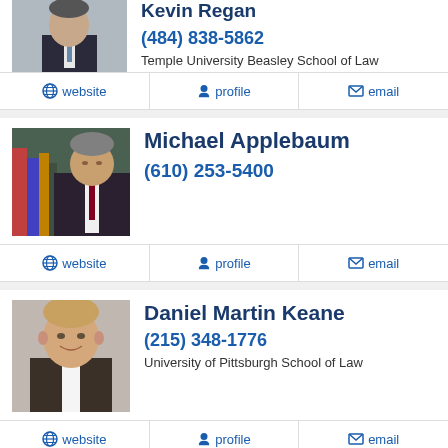[Figure (photo): Photo of Kevin Regan, man in suit]
Kevin Regan
(484) 838-5862
Temple University Beasley School of Law
website  profile  email
[Figure (photo): Photo of Michael Applebaum, man with books]
Michael Applebaum
(610) 253-5400
website  profile  email
[Figure (photo): Photo of Daniel Martin Keane, man smiling]
Daniel Martin Keane
(215) 348-1776
University of Pittsburgh School of Law
website  profile  email